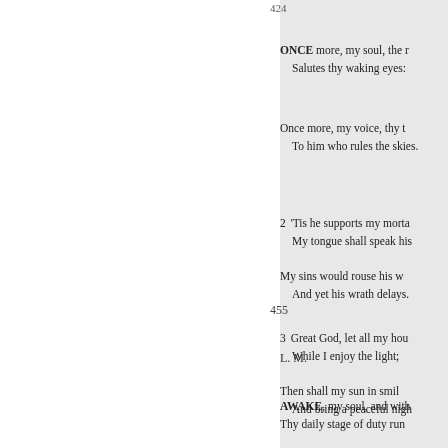ONCE more, my soul, the r
  Salutes thy waking eyes:
Once more, my voice, thy t
  To him who rules the skies.
2 'Tis he supports my morta
  My tongue shall speak his
  My sins would rouse his w
  And yet his wrath delays.
3 Great God, let all my hou
  While I enjoy the light;
  Then shall my sun in smil
  And bring a peaceful nigh
455
L. M.
AWAKE, my soul, and with
  Thy daily stage of duty run